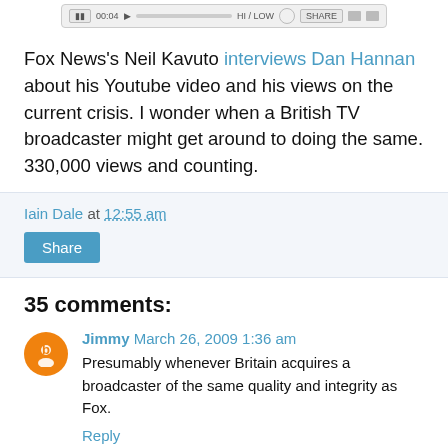[Figure (screenshot): Video player control bar with play button, timestamp showing 00:04, volume, HI/LOW quality toggle, share button, and other controls]
Fox News's Neil Kavuto interviews Dan Hannan about his Youtube video and his views on the current crisis. I wonder when a British TV broadcaster might get around to doing the same. 330,000 views and counting.
Iain Dale at 12:55 am
Share
35 comments:
Jimmy March 26, 2009 1:36 am
Presumably whenever Britain acquires a broadcaster of the same quality and integrity as Fox.
Reply